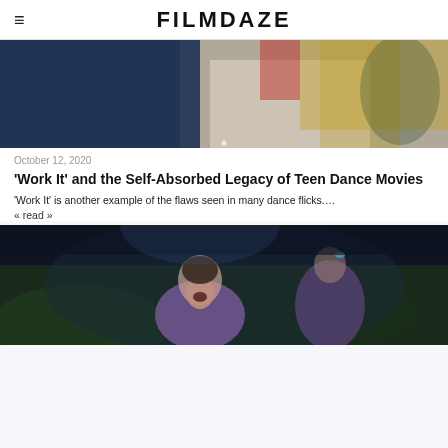FILMDAZE
[Figure (photo): Two people in a dance or embrace scene, one wearing a dark navy shirt with small print, the other wearing a white top with red details and long blonde hair]
October 12, 2020
'Work It' and the Self-Absorbed Legacy of Teen Dance Movies
'Work It' is another example of the flaws seen in many dance flicks….
« read »
[Figure (photo): A young woman with an emotional expression, mouth open, wearing a purple/lavender outfit, with another person in purple visible behind her, dark dramatic stage lighting with greenery in background]